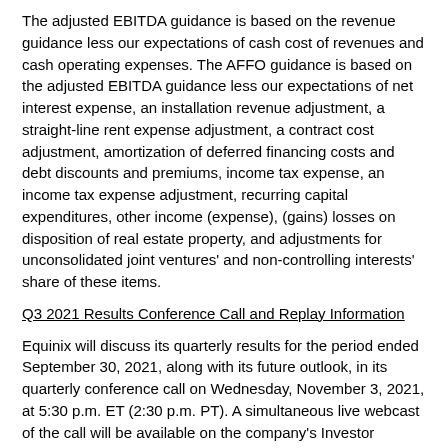The adjusted EBITDA guidance is based on the revenue guidance less our expectations of cash cost of revenues and cash operating expenses. The AFFO guidance is based on the adjusted EBITDA guidance less our expectations of net interest expense, an installation revenue adjustment, a straight-line rent expense adjustment, a contract cost adjustment, amortization of deferred financing costs and debt discounts and premiums, income tax expense, an income tax expense adjustment, recurring capital expenditures, other income (expense), (gains) losses on disposition of real estate property, and adjustments for unconsolidated joint ventures' and non-controlling interests' share of these items.
Q3 2021 Results Conference Call and Replay Information
Equinix will discuss its quarterly results for the period ended September 30, 2021, along with its future outlook, in its quarterly conference call on Wednesday, November 3, 2021, at 5:30 p.m. ET (2:30 p.m. PT). A simultaneous live webcast of the call will be available on the company's Investor Relations website at www.equinix.com/investors. To hear the